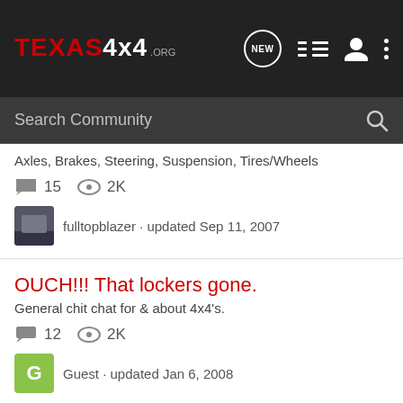TEXAS4x4.ORG
Search Community
Axles, Brakes, Steering, Suspension, Tires/Wheels
15 comments · 2K views · fulltopblazer · updated Sep 11, 2007
OUCH!!! That lockers gone.
General chit chat for & about 4x4's.
12 comments · 2K views · Guest · updated Jan 6, 2008
D44 spindle but stuck
Axles, Brakes, Steering, Suspension, Tires/Wheels